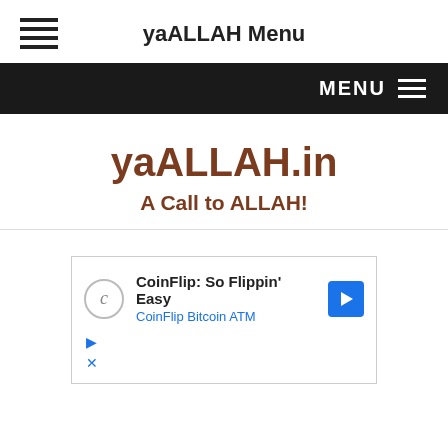yaALLAH Menu
yaALLAH.in
A Call to ALLAH!
[Figure (screenshot): Advertisement banner for CoinFlip Bitcoin ATM with text 'CoinFlip: So Flippin' Easy' and 'CoinFlip Bitcoin ATM', with a blue arrow icon and ad controls]